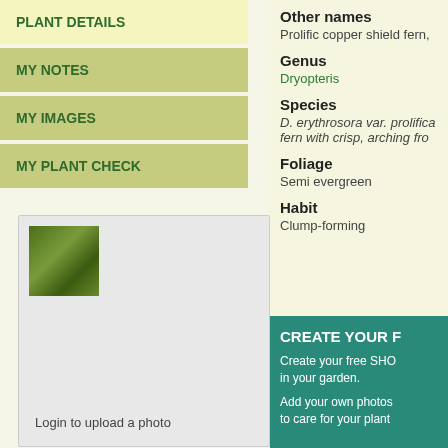PLANT DETAILS
MY NOTES
MY IMAGES
MY PLANT CHECK
[Figure (photo): Small thumbnail image of a green fern plant]
Login to upload a photo
Other names
Prolific copper shield fern,
Genus
Dryopteris
Species
D. erythrosora var. prolifica fern with crisp, arching fro
Foliage
Semi evergreen
Habit
Clump-forming
CREATE YOUR F
Create your free SHO in your garden.
Add your own photos to care for your plant